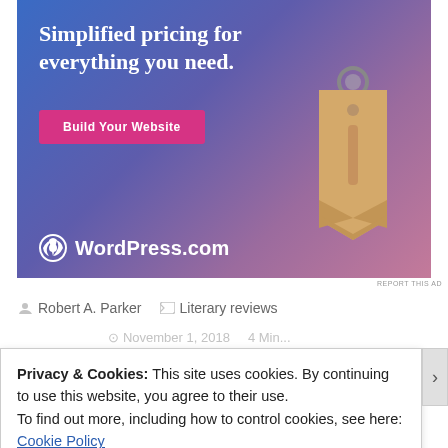[Figure (illustration): WordPress.com advertisement banner with gradient blue-purple-pink background, showing 'Simplified pricing for everything you need.' headline, a 'Build Your Website' pink button, a tan price tag with ring, and WordPress.com logo at bottom left.]
REPORT THIS AD
Robert A. Parker   Literary reviews
Privacy & Cookies: This site uses cookies. By continuing to use this website, you agree to their use.
To find out more, including how to control cookies, see here:
Cookie Policy
Close and accept